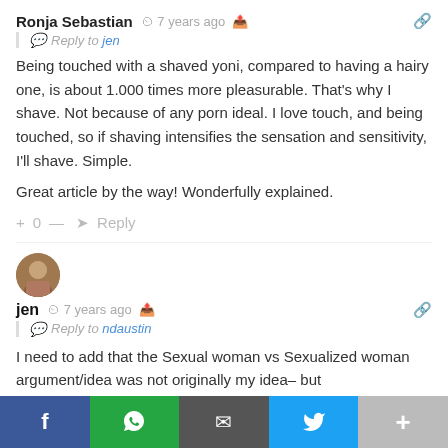Ronja Sebastian · 7 years ago
Reply to jen
Being touched with a shaved yoni, compared to having a hairy one, is about 1.000 times more pleasurable. That's why I shave. Not because of any porn ideal. I love touch, and being touched, so if shaving intensifies the sensation and sensitivity, I'll shave. Simple.

Great article by the way! Wonderfully explained.
+ 0 — → Reply
[Figure (photo): Round avatar photo of user jen]
jen · 7 years ago
Reply to ndaustin
I need to add that the Sexual woman vs Sexualized woman argument/idea was not originally my idea– but
f  WhatsApp  Email  Twitter  +